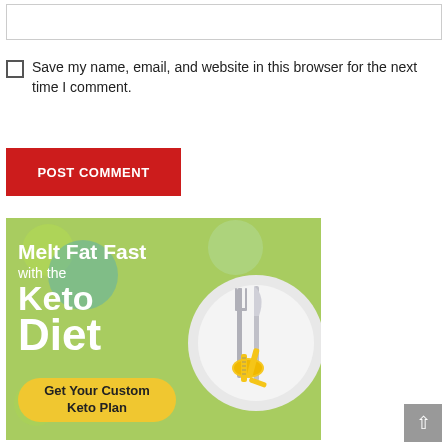Save my name, email, and website in this browser for the next time I comment.
POST COMMENT
[Figure (illustration): Keto diet advertisement banner. Green background with decorative circles. Text reads 'Melt Fat Fast with the Keto Diet' with a yellow button 'Get Your Custom Keto Plan'. Image of a white plate with fork, knife, and a yellow measuring tape.]